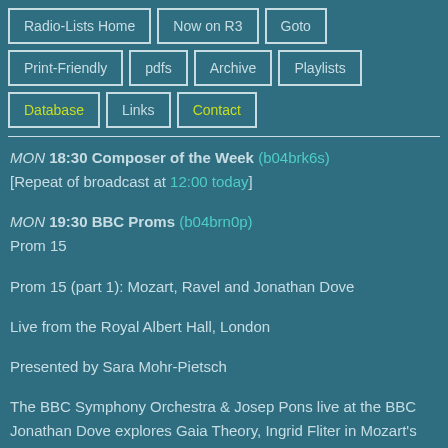Radio-Lists Home
Now on R3
Goto
Print-Friendly
pdfs
Archive
Playlists
Database
Links
Contact
MON 18:30 Composer of the Week (b04brk6s)
[Repeat of broadcast at 12:00 today]
MON 19:30 BBC Proms (b04brn0p)
Prom 15

Prom 15 (part 1): Mozart, Ravel and Jonathan Dove

Live from the Royal Albert Hall, London

Presented by Sara Mohr-Pietsch

The BBC Symphony Orchestra & Josep Pons live at the BBC Proms. Jonathan Dove explores Gaia Theory, Ingrid Fliter in Mozart's